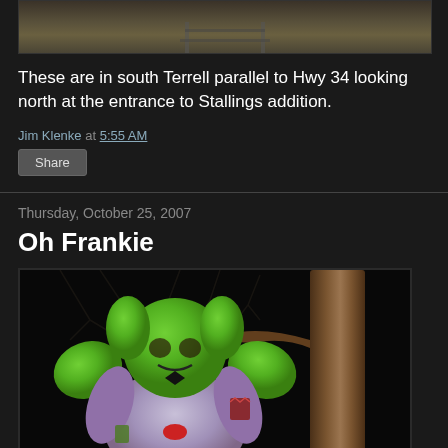[Figure (photo): Top portion of a photo showing railroad tracks in south Terrell, parallel to Hwy 34, looking north at the entrance to Stallings addition. Ground and gravel visible.]
These are in south Terrell parallel to Hwy 34 looking north at the entrance to Stallings addition.
Jim Klenke at 5:55 AM
Share
Thursday, October 25, 2007
Oh Frankie
[Figure (photo): Nighttime photo of an inflatable Frankenstein Halloween decoration with green head, raised arms, purple suit with red bow tie and patch, positioned next to a tree trunk with bare branches visible in background.]